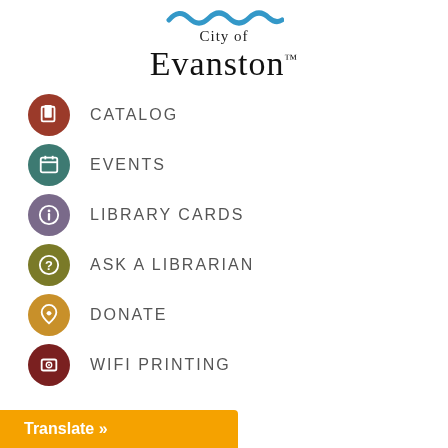[Figure (logo): City of Evanston logo with blue wave graphic and serif text]
CATALOG
EVENTS
LIBRARY CARDS
ASK A LIBRARIAN
DONATE
WIFI PRINTING
Translate »